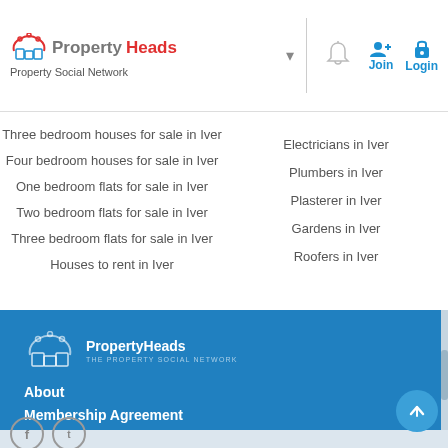PropertyHeads - Property Social Network
Three bedroom houses for sale in Iver
Four bedroom houses for sale in Iver
One bedroom flats for sale in Iver
Two bedroom flats for sale in Iver
Three bedroom flats for sale in Iver
Houses to rent in Iver
Electricians in Iver
Plumbers in Iver
Plasterer in Iver
Gardens in Iver
Roofers in Iver
PropertyHeads - THE PROPERTY SOCIAL NETWORK. About, Membership Agreement, Cookie Policy, Privacy Policy, Sitemap